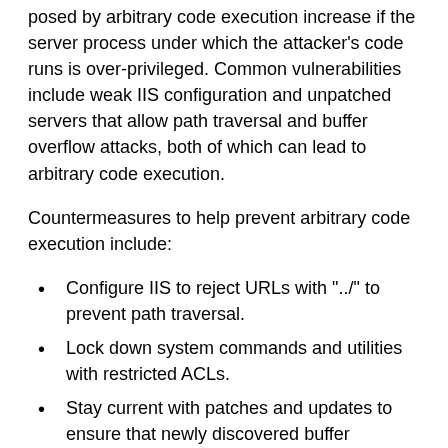posed by arbitrary code execution increase if the server process under which the attacker's code runs is over-privileged. Common vulnerabilities include weak IIS configuration and unpatched servers that allow path traversal and buffer overflow attacks, both of which can lead to arbitrary code execution.
Countermeasures to help prevent arbitrary code execution include:
Configure IIS to reject URLs with "../" to prevent path traversal.
Lock down system commands and utilities with restricted ACLs.
Stay current with patches and updates to ensure that newly discovered buffer overflows are speedily patched.
Unauthorized Access